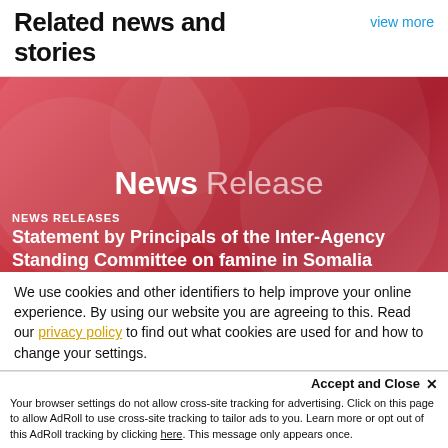Related news and stories
view more
[Figure (illustration): Red/pink gradient banner with circular design elements and 'News Release' text overlay]
NEWS RELEASES
Statement by Principals of the Inter-Agency Standing Committee on famine in Somalia
We use cookies and other identifiers to help improve your online experience. By using our website you are agreeing to this. Read our privacy policy to find out what cookies are used for and how to change your settings.
Accept and Close ✕
Your browser settings do not allow cross-site tracking for advertising. Click on this page to allow AdRoll to use cross-site tracking to tailor ads to you. Learn more or opt out of this AdRoll tracking by clicking here. This message only appears once.